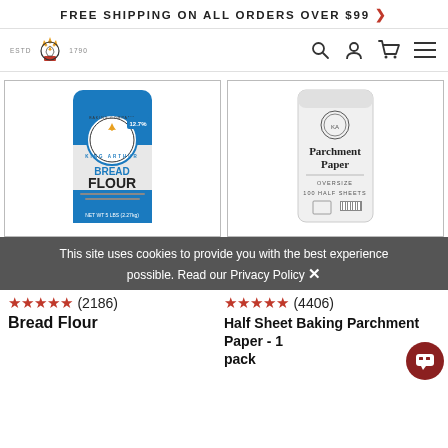FREE SHIPPING ON ALL ORDERS OVER $99 >
[Figure (logo): King Arthur Baking Company logo with crown/wheat emblem, ESTD 1790 text]
[Figure (screenshot): King Arthur Bread Flour 5lb bag product image, blue bag with 12.7% protein content label]
[Figure (screenshot): King Arthur Parchment Paper 100 half sheets product image, white minimalist packaging]
This site uses cookies to provide you with the best experience possible. Read our Privacy Policy X
★★★★★ (2186)
★★★★★ (4406)
Bread Flour
Half Sheet Baking Parchment Paper - 1 pack